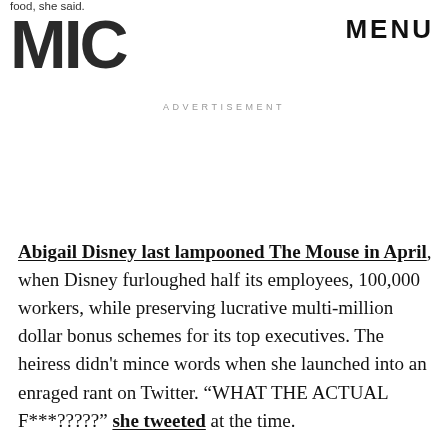food, she said.
[Figure (logo): MIC logo in large bold black letters]
MENU
ADVERTISEMENT
Abigail Disney last lampooned The Mouse in April, when Disney furloughed half its employees, 100,000 workers, while preserving lucrative multi-million dollar bonus schemes for its top executives. The heiress didn't mince words when she launched into an enraged rant on Twitter. “WHAT THE ACTUAL F***?????” she tweeted at the time.